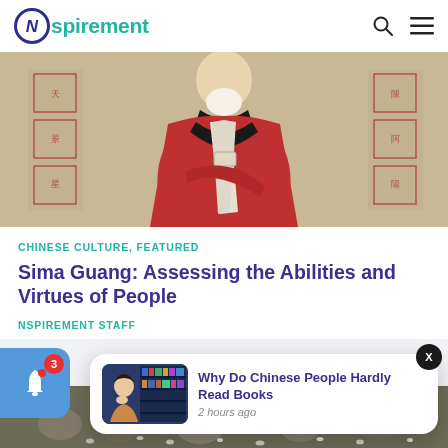Nspirement
[Figure (illustration): Traditional Chinese painting of Sima Guang, a figure in red robes holding a tablet, with Chinese seals/stamps in the corners on a beige background]
CHINESE CULTURE, FEATURED
Sima Guang: Assessing the Abilities and Virtues of People
NSPIREMENT STAFF
[Figure (photo): Thumbnail showing a person looking at a bookshelf display]
Why Do Chinese People Hardly Read Books
2 hours ago